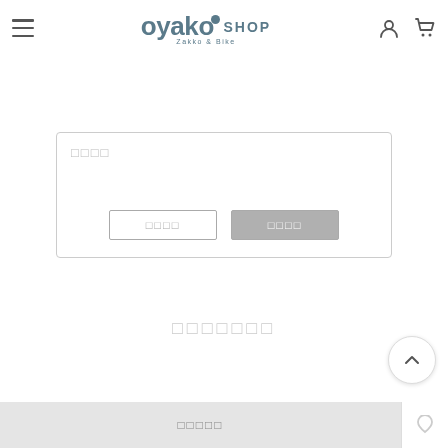[Figure (logo): oyako SHOP Zakka & Bike logo with hamburger menu, user icon and cart icon]
[Figure (screenshot): Search text input box with placeholder text (Japanese characters)]
[Figure (screenshot): Two buttons side by side - outline button and filled grey button, both with Japanese placeholder text]
□□□□□□□
[Figure (screenshot): Back to top button (chevron up) circle]
□□□□□